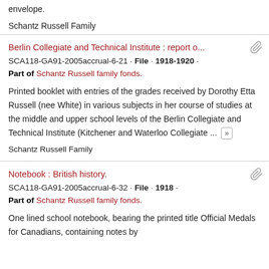envelope.
Schantz Russell Family
Berlin Collegiate and Technical Institute : report o...
SCA118-GA91-2005accrual-6-21 · File · 1918-1920 ·
Part of Schantz Russell family fonds.
Printed booklet with entries of the grades received by Dorothy Etta Russell (nee White) in various subjects in her course of studies at the middle and upper school levels of the Berlin Collegiate and Technical Institute (Kitchener and Waterloo Collegiate ... »
Schantz Russell Family
Notebook : British history.
SCA118-GA91-2005accrual-6-32 · File · 1918 ·
Part of Schantz Russell family fonds.
One lined school notebook, bearing the printed title Official Medals for Canadians, containing notes by